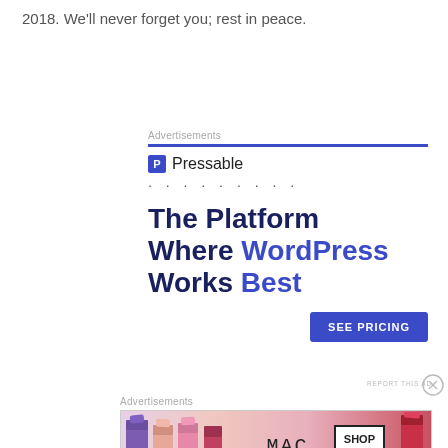2018. We'll never forget you; rest in peace.
[Figure (infographic): Pressable advertisement: 'The Platform Where WordPress Works Best' with SEE PRICING button]
[Figure (infographic): MAC cosmetics advertisement showing lipsticks with SHOP NOW call to action]